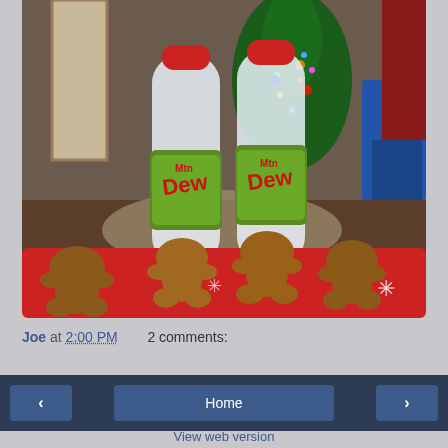[Figure (photo): Two bottles of Mountain Dew (Gingerbread Barrel flavor, clear/white liquid) sitting on a table with a red tray of undecorated gingerbread man cookies in the foreground, and a Christmas tree with lights and ornaments visible in the background.]
Joe at 2:00 PM   2 comments:
< Home >
View web version